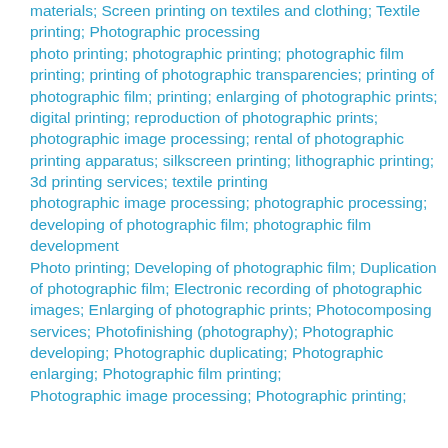materials; Screen printing on textiles and clothing; Textile printing; Photographic processing photo printing; photographic printing; photographic film printing; printing of photographic transparencies; printing of photographic film; printing; enlarging of photographic prints; digital printing; reproduction of photographic prints; photographic image processing; rental of photographic printing apparatus; silkscreen printing; lithographic printing; 3d printing services; textile printing photographic image processing; photographic processing; developing of photographic film; photographic film development Photo printing; Developing of photographic film; Duplication of photographic film; Electronic recording of photographic images; Enlarging of photographic prints; Photocomposing services; Photofinishing (photography); Photographic developing; Photographic duplicating; Photographic enlarging; Photographic film printing; Photographic image processing; Photographic printing;